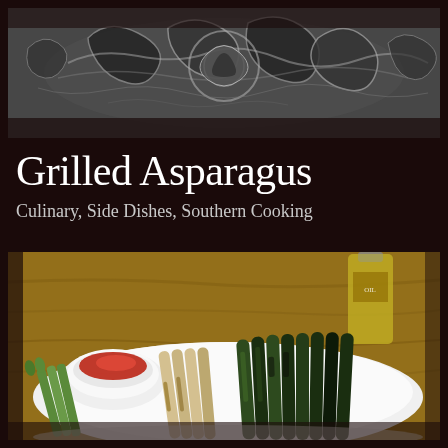[Figure (photo): Close-up of an ornate decorative ceramic or pottery piece with intricate scroll and floral relief patterns in black and white/grey tones]
Grilled Asparagus
Culinary, Side Dishes, Southern Cooking
[Figure (photo): A white plate with grilled asparagus spears at various levels of charring from light green to dark/blackened, accompanied by a small white dish containing red paprika powder, with a bottle of olive oil visible in the background on a wooden surface]